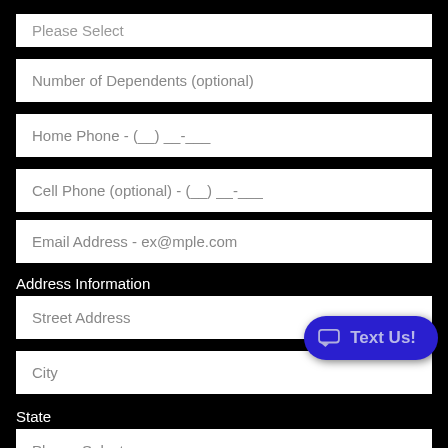Please Select
Number of Dependents (optional)
Home Phone - (__) __-___
Cell Phone (optional) - (__) __-___
Email Address - ex@mple.com
Address Information
Street Address
City
State
Please Select
Zip Code